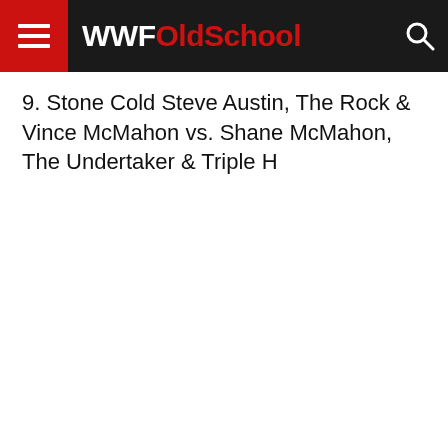WWFOldSchool
9. Stone Cold Steve Austin, The Rock & Vince McMahon vs. Shane McMahon, The Undertaker & Triple H